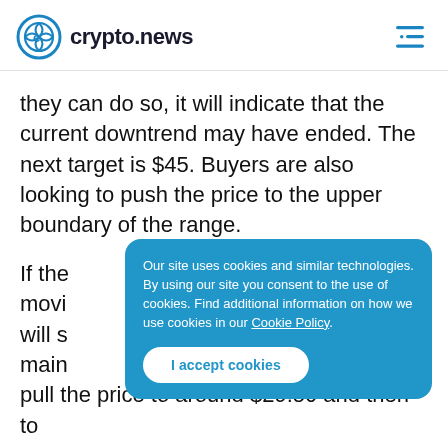crypto.news
they can do so, it will indicate that the current downtrend may have ended. The next target is $45. Buyers are also looking to push the price to the upper boundary of the range.
Our site uses cookies and similar technologies. By using our site you consent to the use of cookies. Find additional information on how we use cookies in our Cookie Policy.
I accept cookies
If the movi will s main pull the price to around $29.50 and then to